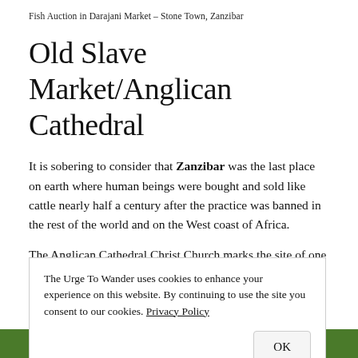Fish Auction in Darajani Market – Stone Town, Zanzibar
Old Slave Market/Anglican Cathedral
It is sobering to consider that Zanzibar was the last place on earth where human beings were bought and sold like cattle nearly half a century after the practice was banned in the rest of the world and on the West coast of Africa.
The Anglican Cathedral Christ Church marks the site of one of the largest open slave markets in this part of the world. More about this below, but going into...
The Urge To Wander uses cookies to enhance your experience on this website. By continuing to use the site you consent to our cookies. Privacy Policy
[Figure (photo): Green foliage visible at the bottom of the page]